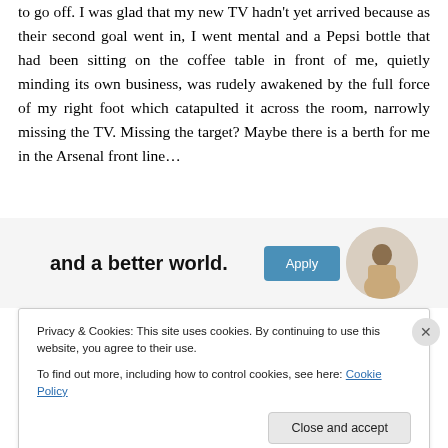to go off. I was glad that my new TV hadn't yet arrived because as their second goal went in, I went mental and a Pepsi bottle that had been sitting on the coffee table in front of me, quietly minding its own business, was rudely awakened by the full force of my right foot which catapulted it across the room, narrowly missing the TV. Missing the target? Maybe there is a berth for me in the Arsenal front line…
[Figure (infographic): Advertisement banner with bold text 'and a better world.' an Apply button and a circular avatar of a man]
Privacy & Cookies: This site uses cookies. By continuing to use this website, you agree to their use.
To find out more, including how to control cookies, see here: Cookie Policy
Close and accept